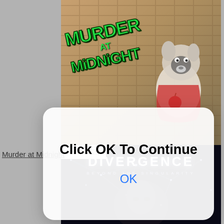[Figure (screenshot): Screenshot of a webpage showing two game product listings. Top portion shows 'Murder at Midnight' game cover art with a cartoon dog character and green graffiti-style logo on a warm-toned background. Bottom portion shows 'Divergence: Beyond the Singularity' PC DVD game box with a woman's face and constellation network overlay on dark background. A modal dialog overlays the center of the image.]
Murder at Midnight
Click OK To Continue
OK